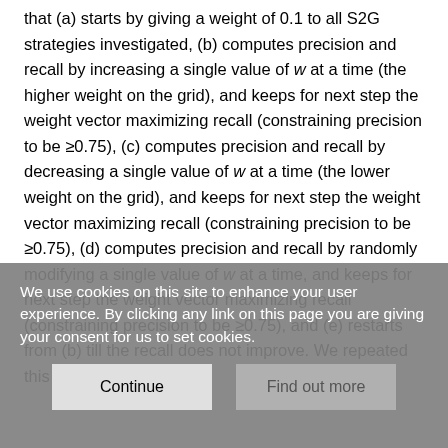that (a) starts by giving a weight of 0.1 to all S2G strategies investigated, (b) computes precision and recall by increasing a single value of w at a time (the higher weight on the grid), and keeps for next step the weight vector maximizing recall (constraining precision to be ≥0.75), (c) computes precision and recall by decreasing a single value of w at a time (the lower weight on the grid), and keeps for next step the weight vector maximizing recall (constraining precision to be ≥0.75), (d) computes precision and recall by randomly modifying a single value of w at a time, and keeps for next step the weight vector maximizing recall (constraining precision to be ≥0.75), and (e) restarts from (b) till the recall does not improve. We repeated this
We use cookies on this site to enhance your user experience. By clicking any link on this page you are giving your consent for us to set cookies.